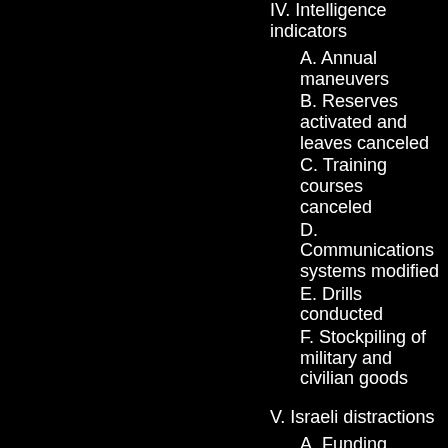IV. Intelligence indicators
A.  Annual maneuvers
B.  Reserves activated and leaves canceled
C.  Training courses canceled
D.  Communications systems modified
E.  Drills conducted
F.  Stockpiling of military and civilian goods
V. Israeli distractions
A.  Funding cutbacks
B.  Formation of new group
C.  Focus on terrorism